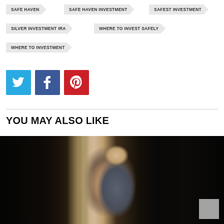SAFE HAVEN
SAFE HAVEN INVESTMENT
SAFEST INVESTMENT
SILVER INVESTMENT IRA
WHERE TO INVEST SAFELY
WHERE TO INVESTMENT
[Figure (other): Twitter share button (blue)]
[Figure (other): Facebook share button (dark blue)]
[Figure (other): Pinterest share button (red)]
YOU MAY ALSO LIKE
[Figure (photo): Photo of a middle-aged man with glasses and grey hair wearing a suit and tie, in a dark setting with curtain background]